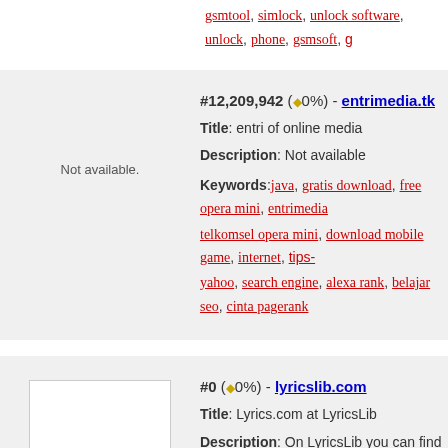gsmtool, simlock, unlock software, unlock, phone, gsmsoft, g...
#12,209,942 (◆0%) - entrimedia.tk
Not available.
Title: entri of online media
Description: Not available
Keywords: java, gratis download, free opera mini, entrimedi..., telkomsel opera mini, download mobile game, internet, tips-..., yahoo, search engine, alexa rank, belajar seo, cinta pagerank...
#0 (◆0%) - lyricslib.com
Not available.
Title: Lyrics.com at LyricsLib
Description: On LyricsLib you can find all the lyrics you need...